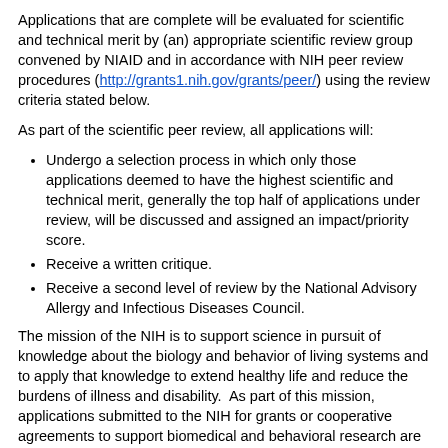Applications that are complete will be evaluated for scientific and technical merit by (an) appropriate scientific review group convened by NIAID and in accordance with NIH peer review procedures (http://grants1.nih.gov/grants/peer/) using the review criteria stated below.
As part of the scientific peer review, all applications will:
Undergo a selection process in which only those applications deemed to have the highest scientific and technical merit, generally the top half of applications under review, will be discussed and assigned an impact/priority score.
Receive a written critique.
Receive a second level of review by the National Advisory Allergy and Infectious Diseases Council.
The mission of the NIH is to support science in pursuit of knowledge about the biology and behavior of living systems and to apply that knowledge to extend healthy life and reduce the burdens of illness and disability. As part of this mission, applications submitted to the NIH for grants or cooperative agreements to support biomedical and behavioral research are evaluated for scientific and technical merit through the NIH peer review system.